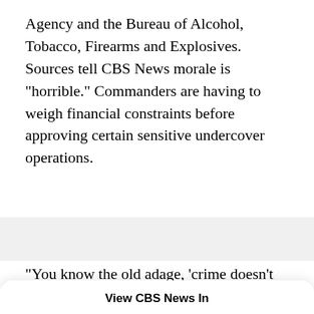Agency and the Bureau of Alcohol, Tobacco, Firearms and Explosives. Sources tell CBS News morale is "horrible." Commanders are having to weigh financial constraints before approving certain sensitive undercover operations.
"You know the old adage, 'crime doesn't pay' ... and
View CBS News In
CBS News App — OPEN
Safari — CONTINUE